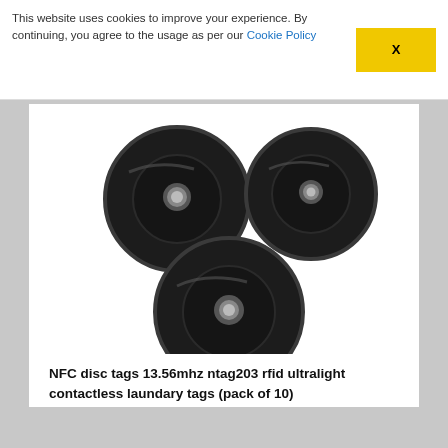This website uses cookies to improve your experience. By continuing, you agree to the usage as per our Cookie Policy
[Figure (photo): Three black NFC disc tags with center holes, arranged in a triangular pattern — two on top, one on bottom. The discs are round, flat, black plastic with a small circular hole in the center.]
NFC disc tags 13.56mhz ntag203 rfid ultralight contactless laundary tags (pack of 10)